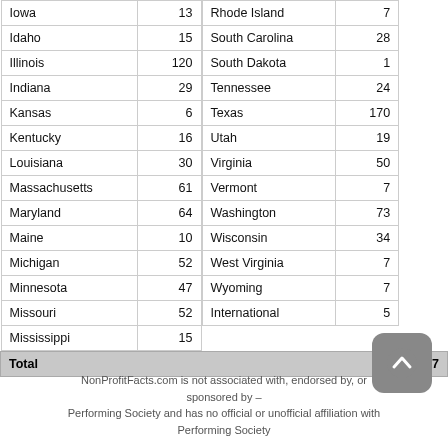| State | Count | State | Count |
| --- | --- | --- | --- |
| Iowa | 13 | Rhode Island | 7 |
| Idaho | 15 | South Carolina | 28 |
| Illinois | 120 | South Dakota | 1 |
| Indiana | 29 | Tennessee | 24 |
| Kansas | 6 | Texas | 170 |
| Kentucky | 16 | Utah | 19 |
| Louisiana | 30 | Virginia | 50 |
| Massachusetts | 61 | Vermont | 7 |
| Maryland | 64 | Washington | 73 |
| Maine | 10 | Wisconsin | 34 |
| Michigan | 52 | West Virginia | 7 |
| Minnesota | 47 | Wyoming | 7 |
| Missouri | 52 | International | 5 |
| Mississippi | 15 |  |  |
| Total |  |  | 2,537 |
NonProfitFacts.com is not associated with, endorsed by, or sponsored by – Performing Society and has no official or unofficial affiliation with Performing Society